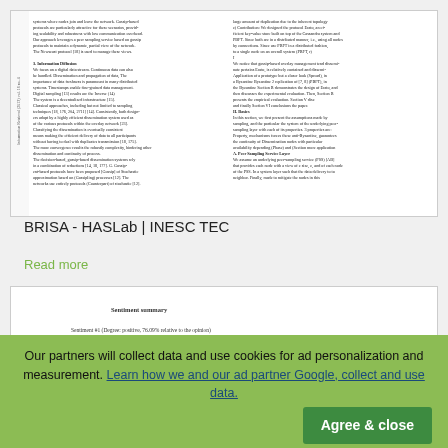[Figure (screenshot): Scanned academic paper showing two-column text with sections about peer sampling, Bayesian learning, and distributed systems. Text is small and dense.]
BRISA - HASLab | INESC TEC
Read more
[Figure (screenshot): Partial view of another academic document showing 'Sentiment summary' and 'Sentiment #1 (Degree: positive, 76.09%% relative to the opinion)' text.]
Our partners will collect data and use cookies for ad personalization and measurement. Learn how we and our ad partner Google, collect and use data.
Agree & close